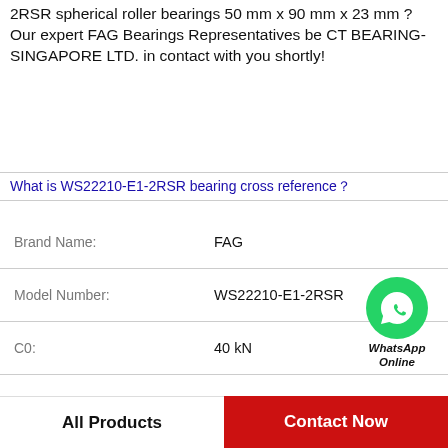2RSR spherical roller bearings 50 mm x 90 mm x 23 mm ? Our expert FAG Bearings Representatives be CT BEARING-SINGAPORE LTD. in contact with you shortly!
What is WS22210-E1-2RSR bearing cross reference?
| Field | Value |
| --- | --- |
| Brand Name: | FAG |
| Model Number: | WS22210-E1-2RSR |
| C0: | 40 kN |
| N: | 18mm |
| C: | 57.2 kN |
| S: | 25.4 mm |
| L: | 188 mm |
[Figure (logo): WhatsApp Online green phone icon with text 'WhatsApp Online']
All Products    Contact Now